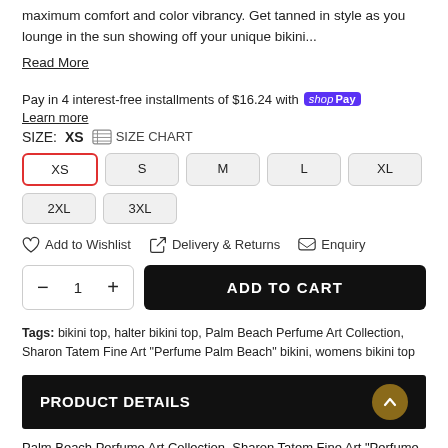maximum comfort and color vibrancy. Get tanned in style as you lounge in the sun showing off your unique bikini...
Read More
Pay in 4 interest-free installments of $16.24 with shop Pay  Learn more
SIZE: XS   SIZE CHART
XS
S
M
L
XL
2XL
3XL
Add to Wishlist   Delivery & Returns   Enquiry
1  ADD TO CART
Tags: bikini top, halter bikini top, Palm Beach Perfume Art Collection, Sharon Tatem Fine Art "Perfume Palm Beach" bikini, womens bikini top
PRODUCT DETAILS
Palm Beach Perfume Art Collection, Sharon Tatem Fine Art "Perfume